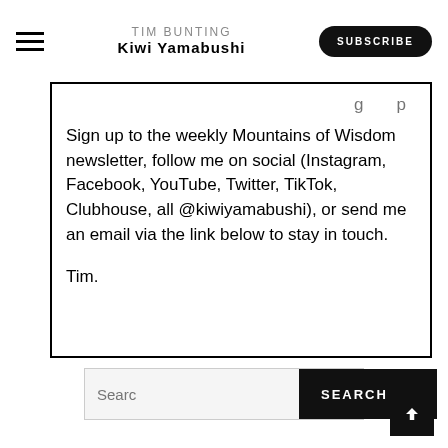TIM BUNTING
KIWI YAMABUSHI
Sign up to the weekly Mountains of Wisdom newsletter, follow me on social (Instagram, Facebook, YouTube, Twitter, TikTok, Clubhouse, all @kiwiyamabushi), or send me an email via the link below to stay in touch.

Tim.